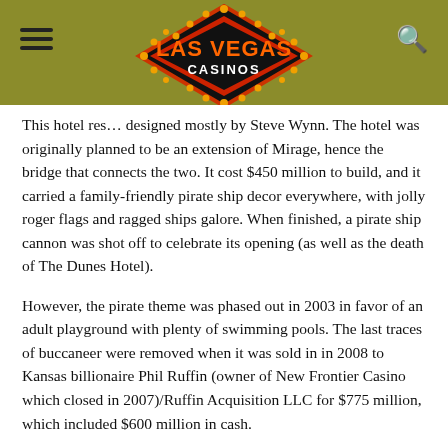Las Vegas Casinos
This hotel res... designed mostly by Steve Wynn. The hotel was originally planned to be an extension of Mirage, hence the bridge that connects the two. It cost $450 million to build, and it carried a family-friendly pirate ship decor everywhere, with jolly roger flags and ragged ships galore. When finished, a pirate ship cannon was shot off to celebrate its opening (as well as the death of The Dunes Hotel).
However, the pirate theme was phased out in 2003 in favor of an adult playground with plenty of swimming pools. The last traces of buccaneer were removed when it was sold in in 2008 to Kansas billionaire Phil Ruffin (owner of New Frontier Casino which closed in 2007)/Ruffin Acquisition LLC for $775 million, which included $600 million in cash.
These days the grownup playground is emphasized, and the pirates have left the building. Treasure Island has fully made the